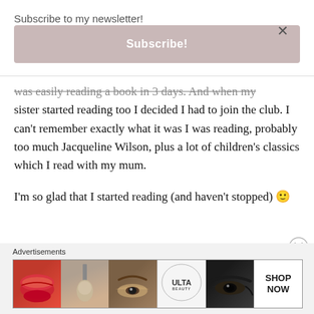Subscribe to my newsletter!
Subscribe!
was easily reading a book in 3 days. And when my sister started reading too I decided I had to join the club. I can't remember exactly what it was I was reading, probably too much Jacqueline Wilson, plus a lot of children's classics which I read with my mum.
I'm so glad that I started reading (and haven't stopped) 🙂
Advertisements
[Figure (photo): Beauty advertisement banner showing ULTA brand with makeup imagery including lips, makeup brush, eye, logo, and eye close-up with 'SHOP NOW' text]